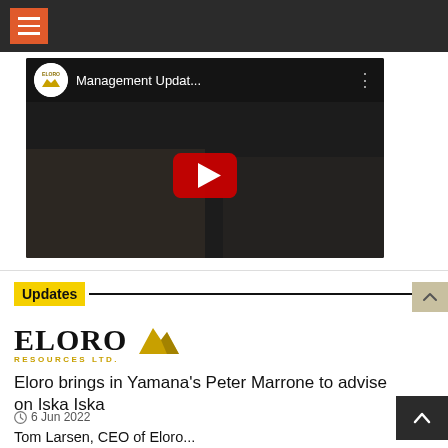Navigation bar with hamburger menu
[Figure (screenshot): YouTube video thumbnail showing Eloro Resources management update video with play button. Title reads 'Management Updat...']
Updates
[Figure (logo): Eloro Resources Ltd. logo with gold mountain/triangle icon]
Eloro brings in Yamana's Peter Marrone to advise on Iska Iska
6 Jun 2022
Tom Larsen, CEO of Eloro...